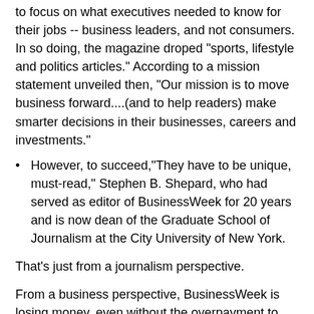to focus on what executives needed to know for their jobs -- business leaders, and not consumers. In so doing, the magazine droped "sports, lifestyle and politics articles." According to a mission statement unveiled then, “Our mission is to move business forward....(and to help readers) make smarter decisions in their businesses, careers and investments.”
However, to succeed,“They have to be unique, must-read,” Stephen B. Shepard, who had served as editor of BusinessWeek for 20 years and is now dean of the Graduate School of Journalism at the City University of New York.
That’s just from a journalism perspective.
From a business perspective, BusinessWeek is losing money, even without the overpayment to McGraw-Hill.
According to the Times, ad revenue for BusinessWeek dropped to "an estimated $60 million this year, from almost